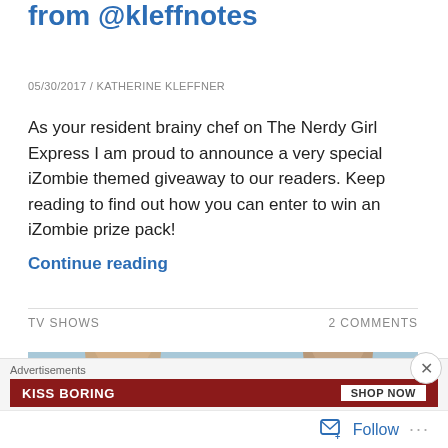from @kleffnotes
05/30/2017 / KATHERINE KLEFFNER
As your resident brainy chef on The Nerdy Girl Express I am proud to announce a very special iZombie themed giveaway to our readers. Keep reading to find out how you can enter to win an iZombie prize pack!
Continue reading
TV SHOWS
2 COMMENTS
[Figure (photo): Cropped photo showing two people outdoors, partial heads visible against a light blue sky background]
Advertisements
KISS BORING   SHOP NOW
Follow ...